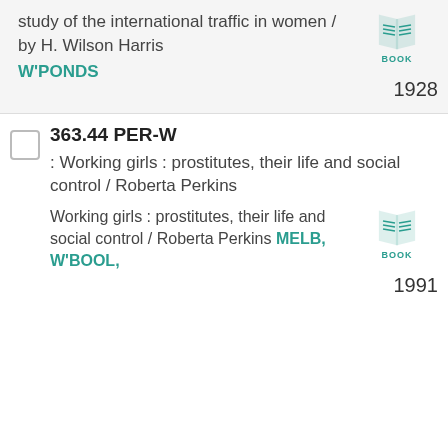study of the international traffic in women / by H. Wilson Harris
W'PONDS
[Figure (illustration): Book icon with BOOK label]
1928
363.44 PER-W
: Working girls : prostitutes, their life and social control / Roberta Perkins
Working girls : prostitutes, their life and social control / Roberta Perkins MELB, W'BOOL,
[Figure (illustration): Book icon with BOOK label]
1991